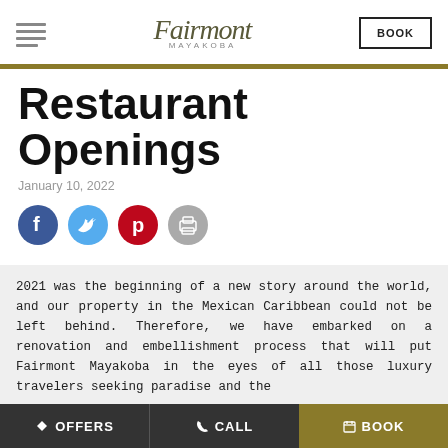Fairmont Mayakoba — BOOK
Restaurant Openings
January 10, 2022
[Figure (infographic): Social share icons: Facebook (blue circle), Twitter (light blue circle), Pinterest (red circle), Print (gray circle)]
2021 was the beginning of a new story around the world, and our property in the Mexican Caribbean could not be left behind. Therefore, we have embarked on a renovation and embellishment process that will put Fairmont Mayakoba in the eyes of all those luxury travelers seeking paradise and the
OFFERS   CALL   BOOK